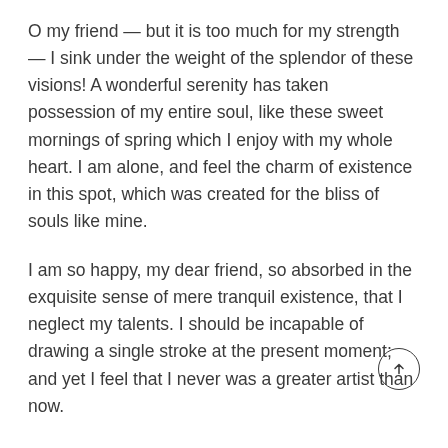O my friend — but it is too much for my strength — I sink under the weight of the splendor of these visions! A wonderful serenity has taken possession of my entire soul, like these sweet mornings of spring which I enjoy with my whole heart. I am alone, and feel the charm of existence in this spot, which was created for the bliss of souls like mine.
I am so happy, my dear friend, so absorbed in the exquisite sense of mere tranquil existence, that I neglect my talents. I should be incapable of drawing a single stroke at the present moment; and yet I feel that I never was a greater artist than now.
When, while the lovely valley teems with vapor around me, and the meridian sun strikes the upper surface of the impenetrable foliage of my trees, and but a few stray gleams steal into the inner sanctuary, I throw myself down among the tall grass by the trickling